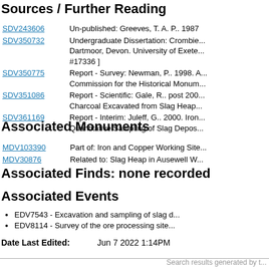Sources / Further Reading
| ID | Description |
| --- | --- |
| SDV243606 | Un-published: Greeves, T. A. P.. 1987 |
| SDV350732 | Undergraduate Dissertation: Crombie... Dartmoor, Devon. University of Exete... #17336 ] |
| SDV350775 | Report - Survey: Newman, P.. 1998. A... Commission for the Historical Monum... |
| SDV351086 | Report - Scientific: Gale, R.. post 200... Charcoal Excavated from Slag Heap... |
| SDV361169 | Report - Interim: Juleff, G.. 2000. Iron... Quantitative Sampling of Slag Depos... |
Associated Monuments
| ID | Description |
| --- | --- |
| MDV103390 | Part of: Iron and Copper Working Site... |
| MDV30876 | Related to: Slag Heap in Ausewell W... |
Associated Finds: none recorded
Associated Events
EDV7543 - Excavation and sampling of slag d...
EDV8114 - Survey of the ore processing site...
Date Last Edited:     Jun 7 2022 1:14PM
Search results generated by t...